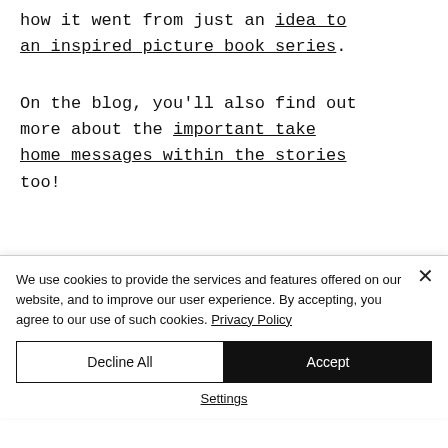how it went from just an idea to an inspired picture book series.
On the blog, you'll also find out more about the important take home messages within the stories too!
We use cookies to provide the services and features offered on our website, and to improve our user experience. By accepting, you agree to our use of such cookies. Privacy Policy
Decline All
Accept
Settings